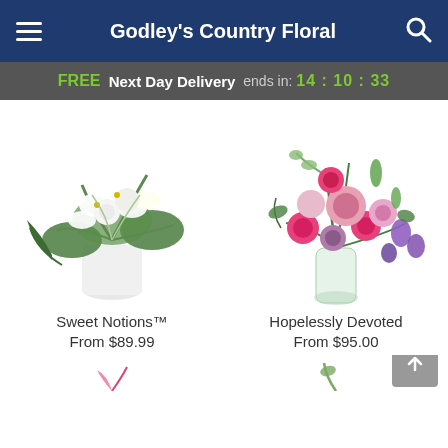Godley's Country Floral
FREE Next Day Delivery ends in: 14:10:33
[Figure (photo): White flower bouquet with lilies and roses in a white cylindrical vase. Product: Sweet Notions™, From $89.99]
[Figure (photo): Pink and purple flower arrangement with dahlias, carnations, and greenery in a glass vase. Product: Hopelessly Devoted, From $95.00]
Sweet Notions™
From $89.99
Hopelessly Devoted
From $95.00